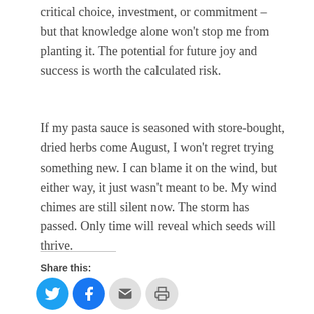critical choice, investment, or commitment – but that knowledge alone won't stop me from planting it. The potential for future joy and success is worth the calculated risk.
If my pasta sauce is seasoned with store-bought, dried herbs come August, I won't regret trying something new. I can blame it on the wind, but either way, it just wasn't meant to be. My wind chimes are still silent now. The storm has passed. Only time will reveal which seeds will thrive.
Share this: